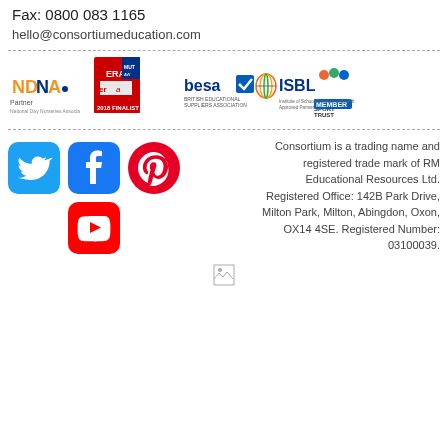Fax: 0800 083 1165
hello@consortiumeducation.com
[Figure (logo): Row of partner logos: NDNA Partner, ERA 2018 Finalist, besa British Educational Suppliers Association, ISBL Approved Partner, Youth Sport Trust Member]
[Figure (logo): Social media icons: Twitter, Facebook, Pinterest, YouTube]
Consortium is a trading name and registered trade mark of RM Educational Resources Ltd. Registered Office: 142B Park Drive, Milton Park, Milton, Abingdon, Oxon, OX14 4SE. Registered Number: 03100039.
[Figure (other): Small broken image icon at bottom center]